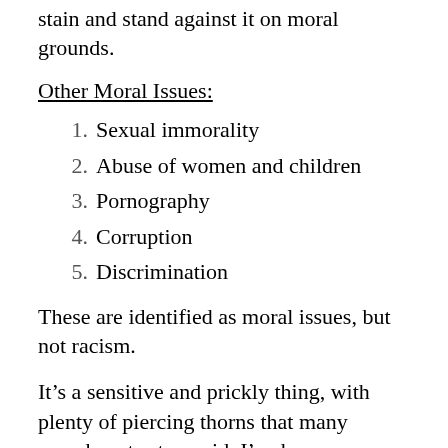stain and stand against it on moral grounds.
Other Moral Issues:
1. Sexual immorality
2. Abuse of women and children
3. Pornography
4. Corruption
5. Discrimination
These are identified as moral issues, but not racism.
It’s a sensitive and prickly thing, with plenty of piercing thorns that many preachers try to avoid. I’ve been preaching for forty years and